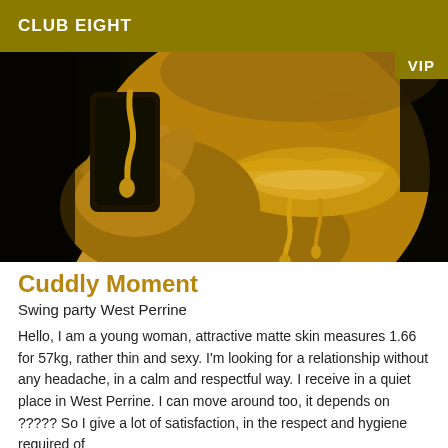CLUB EIGHT
[Figure (photo): Close-up photo of a young woman with gold metallic skin and gold liquid dripping from her lips, holding a card against her face, against a dark background. A VIP badge appears in the top right corner.]
Cuddly Moment
Swing party West Perrine
Hello, I am a young woman, attractive matte skin measures 1.66 for 57kg, rather thin and sexy. I'm looking for a relationship without any headache, in a calm and respectful way. I receive in a quiet place in West Perrine. I can move around too, it depends on ????? So I give a lot of satisfaction, in the respect and hygiene required of